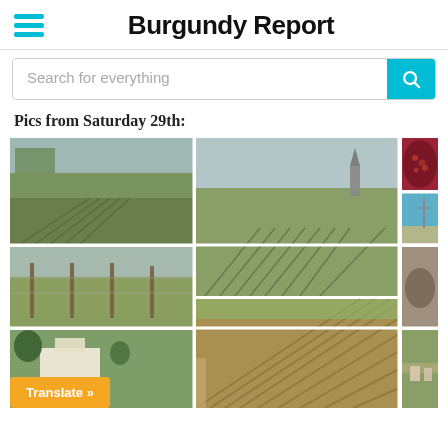Burgundy Report
Search for everything
Pics from Saturday 29th:
[Figure (photo): Photo grid of Burgundy vineyard images from Saturday 29th, showing rows of vines, landscapes, a barrel close-up, stone, and estate buildings.]
Translate »